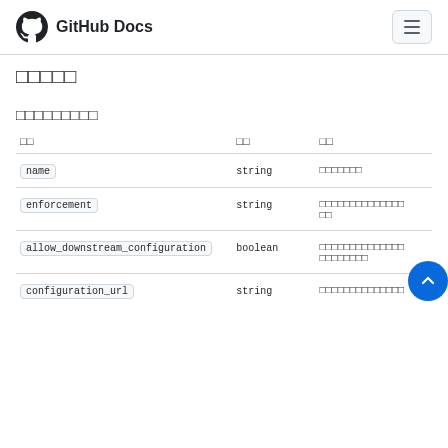GitHub Docs
□□□□□
□□□□□□□□□
| 名前 | 型 | 説明 |
| --- | --- | --- |
| name | string | □□□□□□□ |
| enforcement | string | □□□□□□□□□□□□□□□□ |
| allow_downstream_configuration | boolean | □□□□□□□□□□□□□□□□□□□□□□ |
| configuration_url | string | □□□□□□□□□□□□□□ |